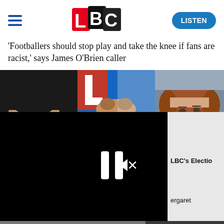[Figure (logo): LBC radio logo — L in red square, B in black square, C in black square]
'Footballers should stop play and take the knee if fans are racist,' says James O'Brien caller
[Figure (photo): Three politicians side by side: Rishi Sunak on left, unknown man in middle in front of blue/red logo, Margaret Thatcher on right]
[Figure (screenshot): Video player overlay showing paused video (black screen) with pause icon and muted speaker icon, and a progress bar at the bottom. Side panel shows 'LBC's Electio' and 'ergaret' text.]